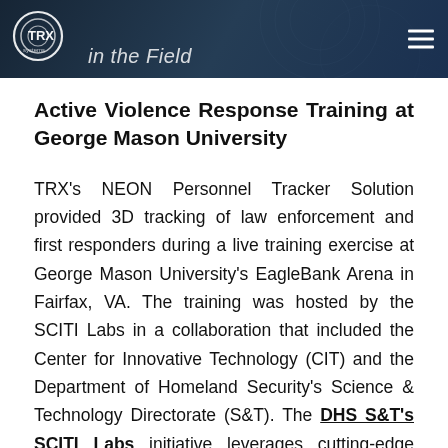TRX Systems — in the Field
Active Violence Response Training at George Mason University
TRX's NEON Personnel Tracker Solution provided 3D tracking of law enforcement and first responders during a live training exercise at George Mason University's EagleBank Arena in Fairfax, VA. The training was hosted by the SCITI Labs in a collaboration that included the Center for Innovative Technology (CIT) and the Department of Homeland Security's Science & Technology Directorate (S&T). The DHS S&T's SCITI Labs initiative leverages cutting-edge Smart City and IoT technologies to